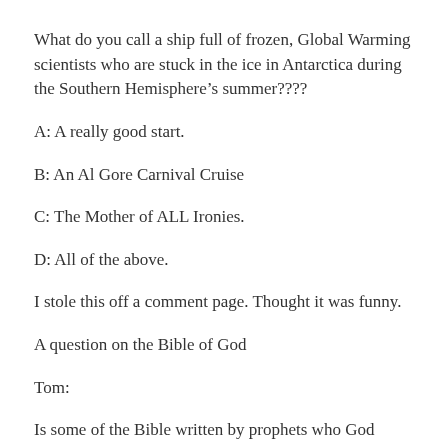What do you call a ship full of frozen, Global Warming scientists who are stuck in the ice in Antarctica during the Southern Hemisphere’s summer????
A: A really good start.
B: An Al Gore Carnival Cruise
C: The Mother of ALL Ironies.
D: All of the above.
I stole this off a comment page. Thought it was funny.
A question on the Bible of God
Tom:
Is some of the Bible written by prophets who God spoke to?